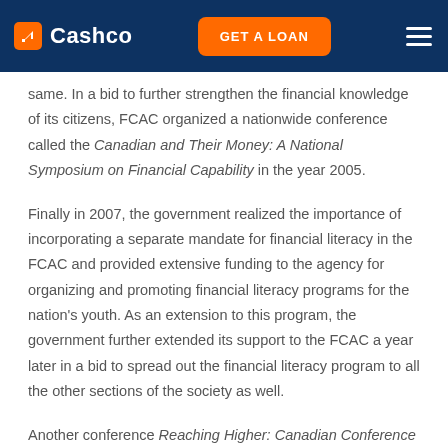Cashco | GET A LOAN
same. In a bid to further strengthen the financial knowledge of its citizens, FCAC organized a nationwide conference called the Canadian and Their Money: A National Symposium on Financial Capability in the year 2005.
Finally in 2007, the government realized the importance of incorporating a separate mandate for financial literacy in the FCAC and provided extensive funding to the agency for organizing and promoting financial literacy programs for the nation's youth. As an extension to this program, the government further extended its support to the FCAC a year later in a bid to spread out the financial literacy program to all the other sections of the society as well.
Another conference Reaching Higher: Canadian Conference on